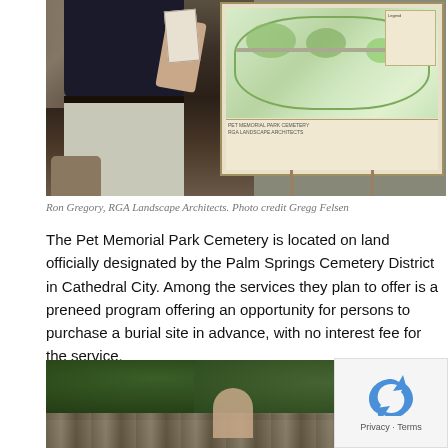[Figure (photo): Man in dark shirt and light pants holding papers, standing in front of a landscape architecture plan mounted on a board/easel outdoors]
Ron Gregory, RGA Landscape Architects.  Photo credit Gregg Felsen
The Pet Memorial Park Cemetery is located on land officially designated by the Palm Springs Cemetery District in Cathedral City. Among the services they plan to offer is a preneed program offering an opportunity for persons to purchase a burial site in advance, with no interest fee for the service.
[Figure (photo): Outdoor scene with trees and stone wall, person visible at bottom center]